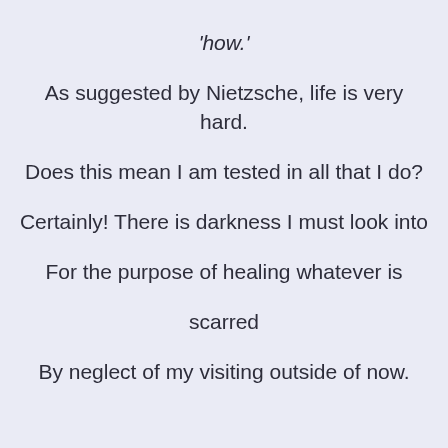'how.' As suggested by Nietzsche, life is very hard. Does this mean I am tested in all that I do? Certainly! There is darkness I must look into For the purpose of healing whatever is scarred By neglect of my visiting outside of now.

In the darkest of places, if I can still find A faint glimmer of something, I'll know it's real light. Life's malevolence is ineradicable. The intent and extent is unfathomable. I need Sustaining Meaning to keep me alright. If well-armed with some virtue, then I am